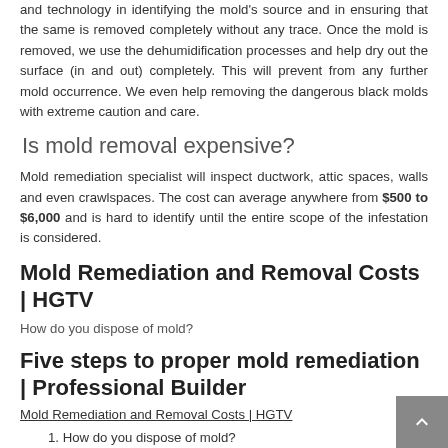and technology in identifying the mold's source and in ensuring that the same is removed completely without any trace. Once the mold is removed, we use the dehumidification processes and help dry out the surface (in and out) completely. This will prevent from any further mold occurrence. We even help removing the dangerous black molds with extreme caution and care.
Is mold removal expensive?
Mold remediation specialist will inspect ductwork, attic spaces, walls and even crawlspaces. The cost can average anywhere from $500 to $6,000 and is hard to identify until the entire scope of the infestation is considered.
Mold Remediation and Removal Costs | HGTV
How do you dispose of mold?
Five steps to proper mold remediation | Professional Builder
Mold Remediation and Removal Costs | HGTV
1. How do you dispose of mold?
1. Wear a respirator or a facemask rated for black moldspore protection, and cover arms, legs and